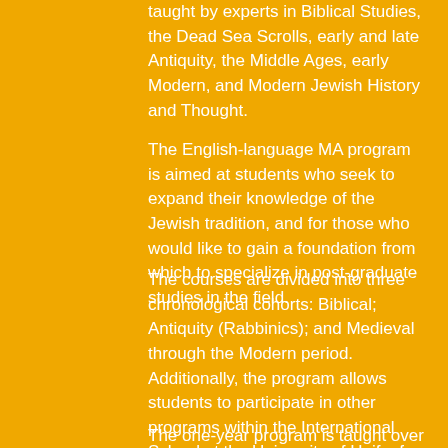taught by experts in Biblical Studies, the Dead Sea Scrolls, early and late Antiquity, the Middle Ages, early Modern, and Modern Jewish History and Thought.
The English-language MA program is aimed at students who seek to expand their knowledge of the Jewish tradition, and for those who would like to gain a foundation from which to specialize in post-graduate studies in the field.
The courses are divided into three chronological cohorts: Biblical; Antiquity (Rabbinics); and Medieval through the Modern period. Additionally, the program allows students to participate in other programs within the International School at the University of Haifa, for example Israel Studies or Holocaust Studies. Those who wish may also learn Hebrew and/or Arabic.
The one-year program is taught over